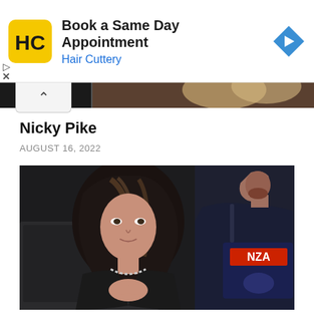[Figure (screenshot): Advertisement banner for Hair Cuttery showing HC logo on yellow background, text 'Book a Same Day Appointment' and 'Hair Cuttery' in blue, with a blue navigation arrow icon on the right.]
[Figure (photo): Partial image strip showing cropped faces/heads of people, partially visible above a chevron/collapse button.]
Nicky Pike
AUGUST 16, 2022
[Figure (photo): Photo of a woman with long dark wavy hair with highlights, wearing a black top with beaded necklace, fingers interlaced in front of her. To her right is a man in a dark blue jacket and navy/red Gonzaga hoodie, touching his face with his hand. Both appear to be seated indoors.]